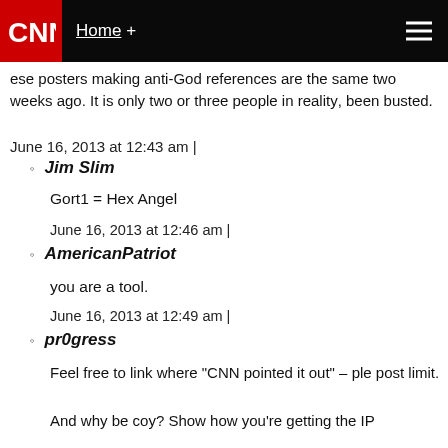CNN | Home +
ese posters making anti-God references are the sa... two weeks ago. It is only two or three people in reality... been busted.
June 16, 2013 at 12:43 am |
Jim Slim
Gort1 = Hex Angel
June 16, 2013 at 12:46 am |
AmericanPatriot
you are a tool.
June 16, 2013 at 12:49 am |
pr0gress
Feel free to link where "CNN pointed it out" – ple... post limit.
And why be coy? Show how you're getting the IP...